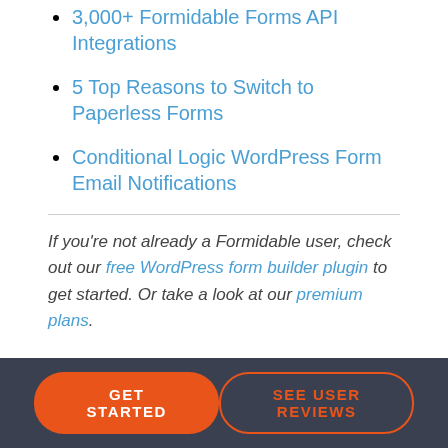3,000+ Formidable Forms API Integrations
5 Top Reasons to Switch to Paperless Forms
Conditional Logic WordPress Form Email Notifications
If you're not already a Formidable user, check out our free WordPress form builder plugin to get started. Or take a look at our premium plans.
GET STARTED | SEE USER REVIEWS